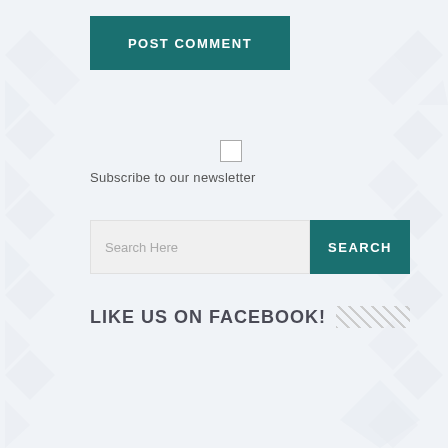POST COMMENT
Subscribe to our newsletter
[Figure (screenshot): Search bar with placeholder text 'Search Here' and a teal SEARCH button]
LIKE US ON FACEBOOK!